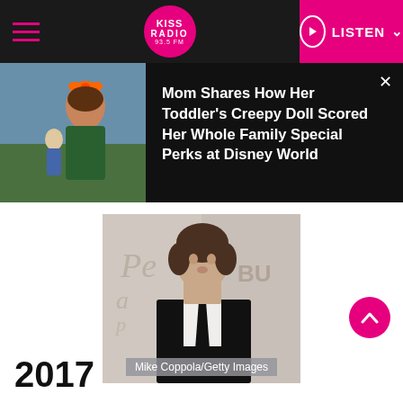KISS RADIO 93.5 FM — LISTEN
[Figure (screenshot): Popup banner showing a toddler dressed as Minnie Mouse holding a doll]
Mom Shares How Her Toddler's Creepy Doll Scored Her Whole Family Special Perks at Disney World
[Figure (photo): Person in black suit and tie at an event, background reads Peabody]
Mike Coppola/Getty Images
2017